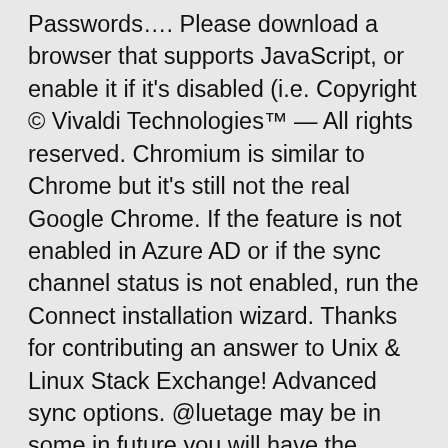Passwords…. Please download a browser that supports JavaScript, or enable it if it's disabled (i.e. Copyright © Vivaldi Technologies™ — All rights reserved. Chromium is similar to Chrome but it's still not the real Google Chrome. If the feature is not enabled in Azure AD or if the sync channel status is not enabled, run the Connect installation wizard. Thanks for contributing an answer to Unix & Linux Stack Exchange! Advanced sync options. @luetage may be in some in future you will have the ability to sync your Vivaldi browser data to Google Sync servers. Some are duplicates, and some one-off for just that user. Stack Exchange network consists of 176 Q&A communities including Stack Overflow, the largest, most trusted online community for developers to learn, share their knowledge, and build their careers. bookmarks, passwords and settings): Letz hav' a look in our … In